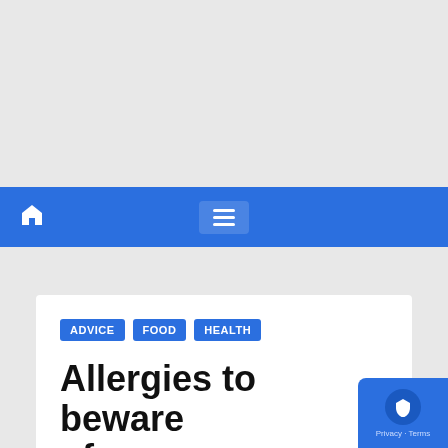[Figure (screenshot): Grey banner/header area at the top of the webpage]
Navigation bar with home icon and hamburger menu on blue background
ADVICE  FOOD  HEALTH
Allergies to beware of